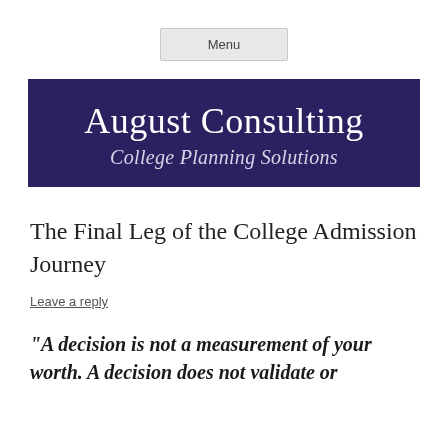Menu
[Figure (logo): August Consulting College Planning Solutions logo banner — dark navy/purple background with white serif text]
The Final Leg of the College Admission Journey
Leave a reply
“A decision is not a measurement of your worth. A decision does not validate or